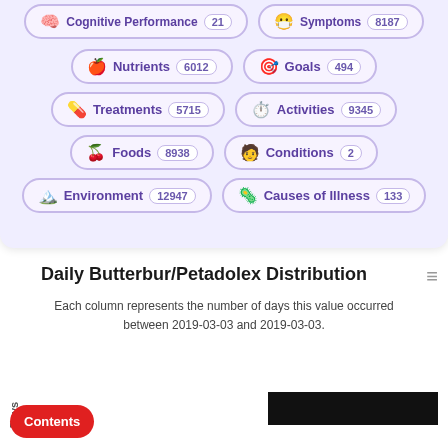[Figure (infographic): UI pill/tag buttons showing health data categories: Cognitive Performance (clipped, top), Symptoms 8187 (clipped, top), Nutrients 6012, Goals 494, Treatments 5715, Activities 9345, Foods 8938, Conditions 2, Environment 12947, Causes of Illness 133]
Daily Butterbur/Petadolex Distribution
Each column represents the number of days this value occurred between 2019-03-03 and 2019-03-03.
[Figure (histogram): Histogram with y-axis labeled Days. Data is mostly empty/blank in visible area. A black bar appears at the bottom right of the chart area.]